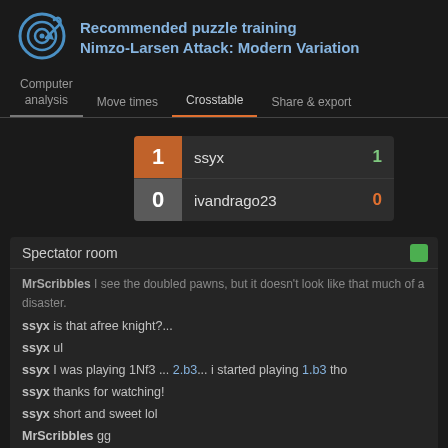[Figure (illustration): Blue target/dartboard icon with a chess-knight-like arrow]
Recommended puzzle training
Nimzo-Larsen Attack: Modern Variation
Computer analysis | Move times | Crosstable | Share & export
| Score | Player | Points |
| --- | --- | --- |
| 1 | ssyx | 1 |
| 0 | ivandrago23 | 0 |
Spectator room
MrScribbles  I see the doubled pawns, but it doesn't look like that much of a disaster.
ssyx  is that afree knight?...
ssyx  ul
ssyx  I was playing 1.Nf3 ... 2.b3... i started playing 1.b3 tho
ssyx  thanks for watching!
ssyx  short and sweet lol
MrScribbles  gg
Sign in to chat